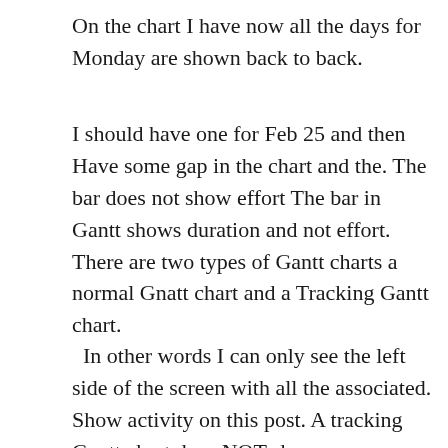On the chart I have now all the days for Monday are shown back to back.
I should have one for Feb 25 and then Have some gap in the chart and the. The bar does not show effort The bar in Gantt shows duration and not effort. There are two types of Gantt charts a normal Gnatt chart and a Tracking Gantt chart.
In other words I can only see the left side of the screen with all the associated. Show activity on this post. A tracking Gantt chart does NOT show.